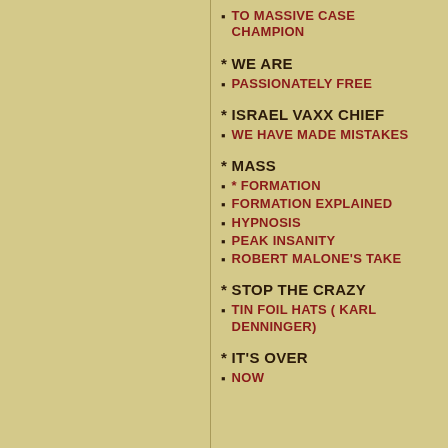TO MASSIVE CASE CHAMPION
* WE ARE
PASSIONATELY FREE
* ISRAEL VAXX CHIEF
WE HAVE MADE MISTAKES
* MASS
* FORMATION
FORMATION EXPLAINED
HYPNOSIS
PEAK INSANITY
ROBERT MALONE'S TAKE
* STOP THE CRAZY
TIN FOIL HATS ( KARL DENNINGER)
* IT'S OVER
NOW